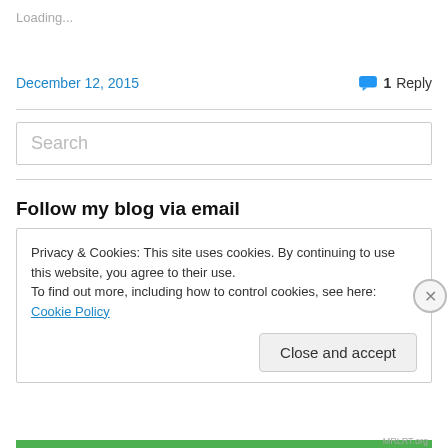Loading...
December 12, 2015
1 Reply
Search
Follow my blog via email
Privacy & Cookies: This site uses cookies. By continuing to use this website, you agree to their use.
To find out more, including how to control cookies, see here: Cookie Policy
Close and accept